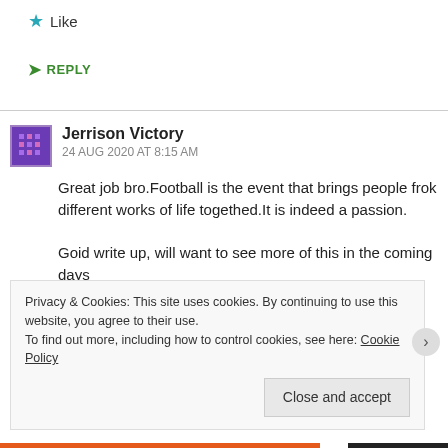★ Like
➤ REPLY
Jerrison Victory
24 AUG 2020 AT 8:15 AM
Great job bro.Football is the event that brings people frok different works of life togethed.It is indeed a passion.

Goid write up, will want to see more of this in the coming days 💪💪💪
Privacy & Cookies: This site uses cookies. By continuing to use this website, you agree to their use.
To find out more, including how to control cookies, see here: Cookie Policy
Close and accept